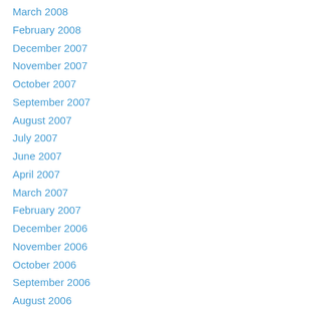March 2008
February 2008
December 2007
November 2007
October 2007
September 2007
August 2007
July 2007
June 2007
April 2007
March 2007
February 2007
December 2006
November 2006
October 2006
September 2006
August 2006
July 2006
June 2006
February 2006